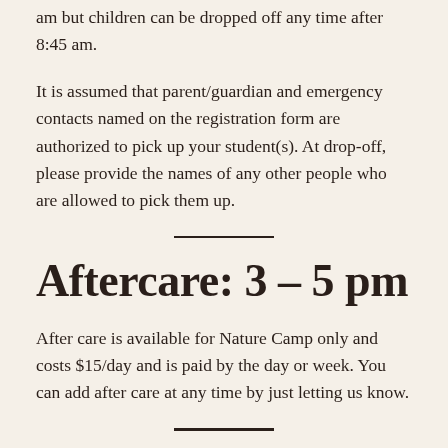am but children can be dropped off any time after 8:45 am.
It is assumed that parent/guardian and emergency contacts named on the registration form are authorized to pick up your student(s). At drop-off, please provide the names of any other people who are allowed to pick them up.
Aftercare: 3 – 5 pm
After care is available for Nature Camp only and costs $15/day and is paid by the day or week. You can add after care at any time by just letting us know.